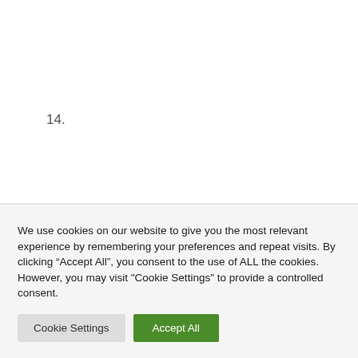14.
We use cookies on our website to give you the most relevant experience by remembering your preferences and repeat visits. By clicking “Accept All”, you consent to the use of ALL the cookies. However, you may visit "Cookie Settings" to provide a controlled consent.